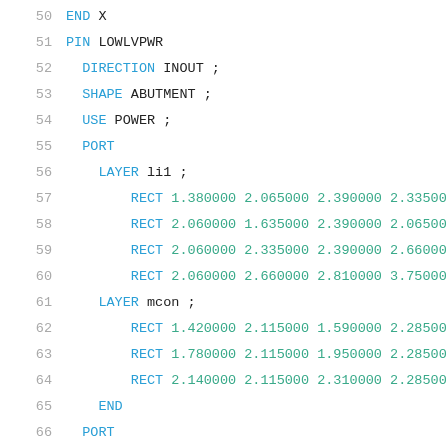50    END X
51    PIN LOWLVPWR
52      DIRECTION INOUT ;
53      SHAPE ABUTMENT ;
54      USE POWER ;
55      PORT
56        LAYER li1 ;
57          RECT 1.380000 2.065000 2.390000 2.335000
58          RECT 2.060000 1.635000 2.390000 2.065000
59          RECT 2.060000 2.335000 2.390000 2.660000
60          RECT 2.060000 2.660000 2.810000 3.750000
61        LAYER mcon ;
62          RECT 1.420000 2.115000 1.590000 2.285000
63          RECT 1.780000 2.115000 1.950000 2.285000
64          RECT 2.140000 2.115000 2.310000 2.285000
65      END
66      PORT
67        LAYER met1 ;
68          RECT 0.070000 2.140000 7.290000 2.280000
69          RECT 1.360000 2.085000 2.370000 2.140000
70          RECT 1.360000 2.280000 2.370000 2.315000
71        LAYER nwell ;